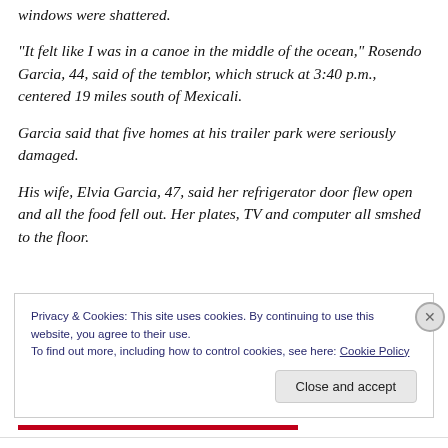windows were shattered.
“It felt like I was in a canoe in the middle of the ocean,” Rosendo Garcia, 44, said of the temblor, which struck at 3:40 p.m., centered 19 miles south of Mexicali.
Garcia said that five homes at his trailer park were seriously damaged.
His wife, Elvia Garcia, 47, said her refrigerator door flew open and all the food fell out. Her plates, TV and computer all smshed to the floor.
Privacy & Cookies: This site uses cookies. By continuing to use this website, you agree to their use.
To find out more, including how to control cookies, see here: Cookie Policy